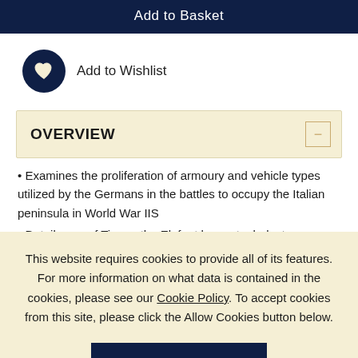Add to Basket
Add to Wishlist
OVERVIEW
Examines the proliferation of armoury and vehicle types utilized by the Germans in the battles to occupy the Italian peninsula in World War IIS
Details use of Tigers, the Elefant heavy tank destroyer, assault guns, and a diverse mix of vehicles from Germany, and also from Italian and Russian origin.
This website requires cookies to provide all of its features. For more information on what data is contained in the cookies, please see our Cookie Policy. To accept cookies from this site, please click the Allow Cookies button below.
Allow Cookies